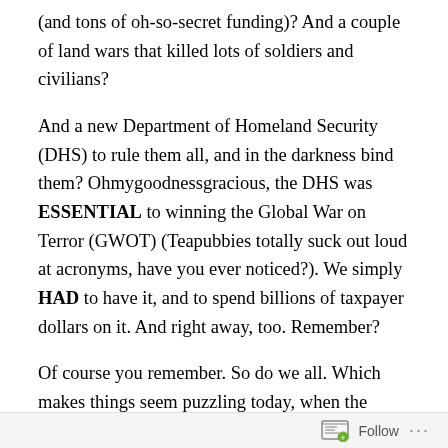(and tons of oh-so-secret funding)? And a couple of land wars that killed lots of soldiers and civilians?
And a new Department of Homeland Security (DHS) to rule them all, and in the darkness bind them? Ohmygoodnessgracious, the DHS was ESSENTIAL to winning the Global War on Terror (GWOT) (Teapubbies totally suck out loud at acronyms, have you ever noticed?). We simply HAD to have it, and to spend billions of taxpayer dollars on it. And right away, too. Remember?
Of course you remember. So do we all. Which makes things seem puzzling today, when the Teapublicans are willing to kneecap that ever-so-very important agency, just to stick a thumb in Obama's eye. How could they take such a risk to such an all-important entity over such a
Follow